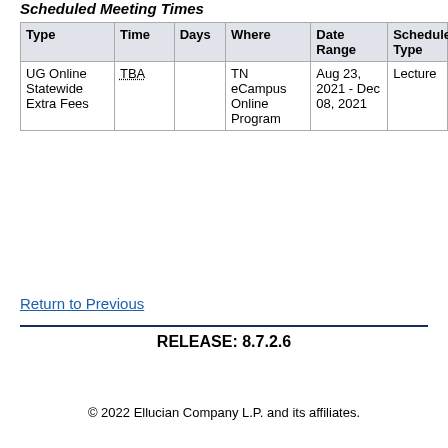Scheduled Meeting Times
| Type | Time | Days | Where | Date Range | Schedule Type | Ins |
| --- | --- | --- | --- | --- | --- | --- |
| UG Online Statewide Extra Fees | TBA |  | TN eCampus Online Program | Aug 23, 2021 - Dec 08, 2021 | Lecture | TB |
Return to Previous
RELEASE: 8.7.2.6
© 2022 Ellucian Company L.P. and its affiliates.